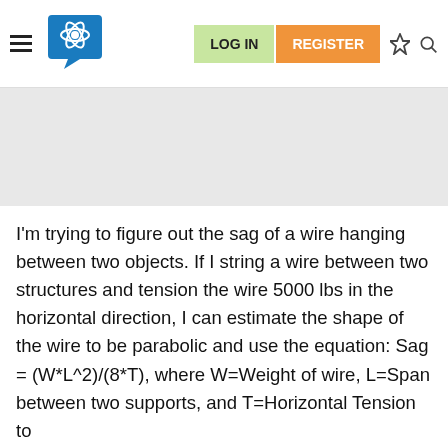LOG IN  REGISTER
[Figure (logo): Science-themed brain/atom logo icon in blue]
I'm trying to figure out the sag of a wire hanging between two objects. If I string a wire between two structures and tension the wire 5000 lbs in the horizontal direction, I can estimate the shape of the wire to be parabolic and use the equation: Sag = (W*L^2)/(8*T), where W=Weight of wire, L=Span between two supports, and T=Horizontal Tension to